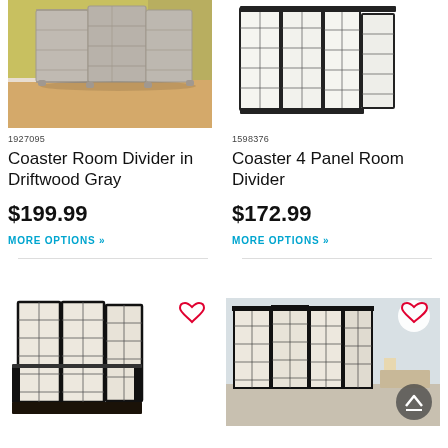[Figure (photo): Room divider in driftwood gray, folded, in a room with wood flooring and yellow-green wall]
[Figure (photo): 4-panel black-framed Japanese-style room divider with grid pattern panels, open on white background]
1927095
1598376
Coaster Room Divider in Driftwood Gray
Coaster 4 Panel Room Divider
$199.99
MORE OPTIONS »
$172.99
MORE OPTIONS »
[Figure (photo): Black-framed Japanese shoji room divider with beige fabric panels and shelf, with heart/favorite icon overlay]
[Figure (photo): Black-framed 4-panel Japanese shoji room divider in a living room setting, with heart/favorite icon and scroll-to-top button overlay]